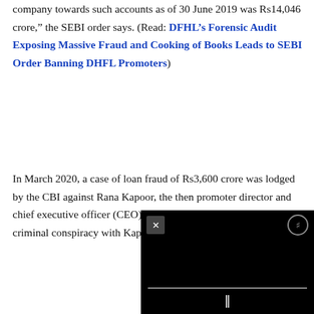company towards such accounts as of 30 June 2019 was Rs14,046 crore," the SEBI order says. (Read: DFHL's Forensic Audit Exposing Massive Fraud and Cooking of Books Leads to SEBI Order Banning DHFL Promoters)
In March 2020, a case of loan fraud of Rs3,600 crore was lodged by the CBI against Rana Kapoor, the then promoter director and chief executive officer (CEO) of Yes Bank, for entering into a criminal conspiracy with Kapil Wadhawan, promoter d... others.
[Figure (screenshot): Black video player overlay in bottom-right corner with close (X) button top-left, mute/settings button top-right, a horizontal progress bar, and pause (II) button at the bottom center.]